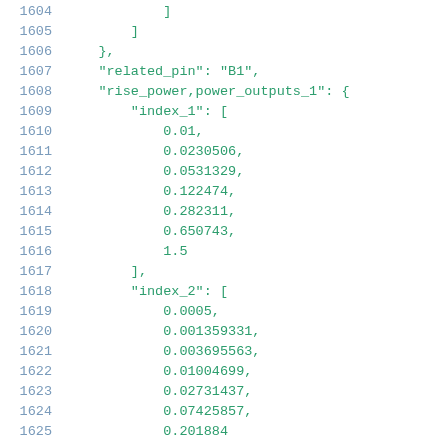Code listing lines 1604-1625 showing JSON data structure with related_pin, rise_power, power_outputs_1, index_1, and index_2 arrays
1604: ]
1605:     ]
1606:     },
1607:     "related_pin": "B1",
1608:     "rise_power,power_outputs_1": {
1609:         "index_1": [
1610:             0.01,
1611:             0.0230506,
1612:             0.0531329,
1613:             0.122474,
1614:             0.282311,
1615:             0.650743,
1616:             1.5
1617:         ],
1618:         "index_2": [
1619:             0.0005,
1620:             0.001359331,
1621:             0.003695563,
1622:             0.01004699,
1623:             0.02731437,
1624:             0.07425857,
1625:             0.201884